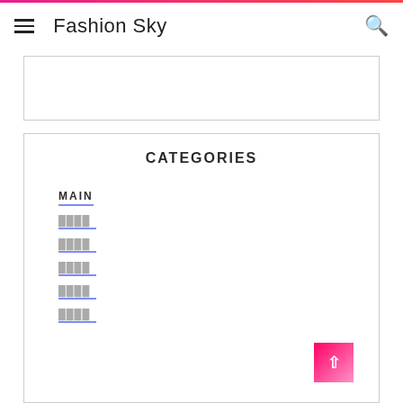Fashion Sky
[Figure (other): Empty advertisement box with border]
CATEGORIES
MAIN
████
████
████
████
████